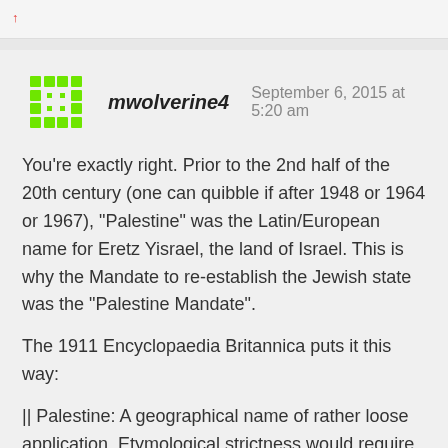↑
mwolverine4   September 6, 2015 at 5:20 am
You're exactly right. Prior to the 2nd half of the 20th century (one can quibble if after 1948 or 1964 or 1967), "Palestine" was the Latin/European name for Eretz Yisrael, the land of Israel. This is why the Mandate to re-establish the Jewish state was the "Palestine Mandate".
The 1911 Encyclopaedia Britannica puts it this way:
|| Palestine: A geographical name of rather loose application. Etymological strictness would require it to denote exclusively the narrow strip of coast-land once occupied by the Philistines, from whose name it is